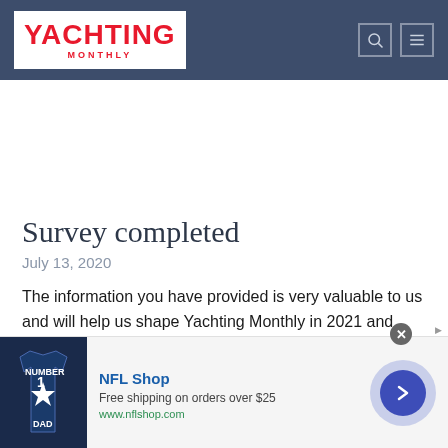YACHTING MONTHLY — site header navigation
Survey completed
July 13, 2020
The information you have provided is very valuable to us and will help us shape Yachting Monthly in 2021 and beyond. We are enormously grateful for your time, and please…
[Figure (other): Advertisement banner for NFL Shop showing a Dallas Cowboys jersey, text 'NFL Shop', 'Free shipping on orders over $25', 'www.nflshop.com', with a blue arrow circle button]